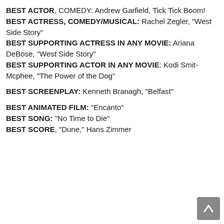BEST ACTOR, COMEDY: Andrew Garfield, Tick Tick Boom!
BEST ACTRESS, COMEDY/MUSICAL: Rachel Zegler, "West Side Story"
BEST SUPPORTING ACTRESS IN ANY MOVIE: Ariana DeBose, "West Side Story"
BEST SUPPORTING ACTOR IN ANY MOVIE: Kodi Smit-Mcphee, "The Power of the Dog"
BEST SCREENPLAY: Kenneth Branagh, "Belfast"
BEST ANIMATED FILM: "Encanto"
BEST SONG: "No Time to Die"
BEST SCORE, "Dune," Hans Zimmer